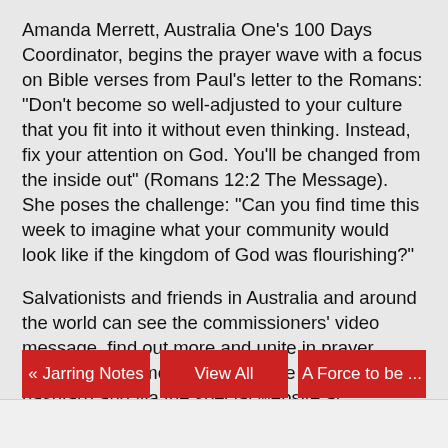Amanda Merrett, Australia One's 100 Days Coordinator, begins the prayer wave with a focus on Bible verses from Paul's letter to the Romans: "Don't become so well-adjusted to your culture that you fit into it without even thinking. Instead, fix your attention on God. You'll be changed from the inside out" (Romans 12:2 The Message). She poses the challenge: "Can you find time this week to imagine what your community would look like if the kingdom of God was flourishing?"
Salvationists and friends in Australia and around the world can see the commissioners' video message, find out more and unite in prayer through social media (look for the #TSA100Days hashtag) and via the special website at http://resources.australiaone.info/.
« Jarring Notes
View All
A Force to be ...